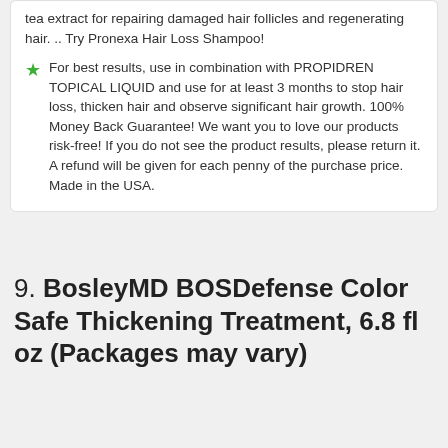tea extract for repairing damaged hair follicles and regenerating hair. .. Try Pronexa Hair Loss Shampoo!
For best results, use in combination with PROPIDREN TOPICAL LIQUID and use for at least 3 months to stop hair loss, thicken hair and observe significant hair growth. 100% Money Back Guarantee! We want you to love our products risk-free! If you do not see the product results, please return it. A refund will be given for each penny of the purchase price. Made in the USA.
9. BosleyMD BOSDefense Color Safe Thickening Treatment, 6.8 fl oz (Packages may vary)